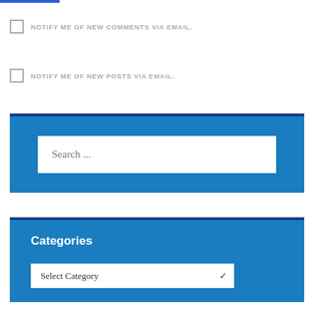NOTIFY ME OF NEW COMMENTS VIA EMAIL.
NOTIFY ME OF NEW POSTS VIA EMAIL.
[Figure (screenshot): Search widget with blue background and a search input box containing placeholder text 'Search ...']
[Figure (screenshot): Categories widget with blue background, 'Categories' heading, and a 'Select Category' dropdown]